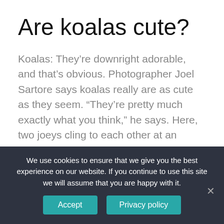Are koalas cute?
Koalas: They’re downright adorable, and that’s obvious. Photographer Joel Sartore says koalas really are as cute as they seem. “They’re pretty much exactly what you think,” he says. Here, two joeys cling to each other at an animal hospital in Australia.
Is Shark a fish or mammal?
We use cookies to ensure that we give you the best experience on our website. If you continue to use this site we will assume that you are happy with it.